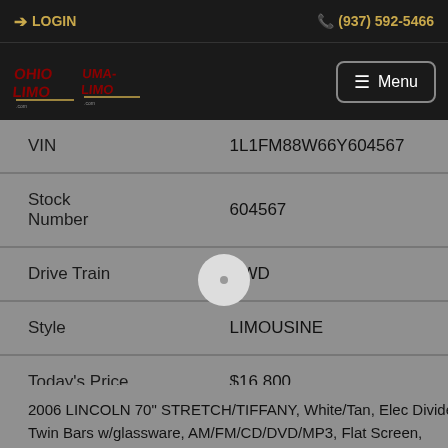LOGIN | (937) 592-5466
[Figure (logo): Ohio Limo and Uma Limo logos with Menu button]
| Field | Value |
| --- | --- |
| VIN | 1L1FM88W66Y604567 |
| Stock Number | 604567 |
| Drive Train | RWD |
| Style | LIMOUSINE |
| Today's Price | $16,800 |
2006 LINCOLN 70" STRETCH/TIFFANY, White/Tan, Elec Divider, Twin Bars w/glassware, AM/FM/CD/DVD/MP3, Flat Screen, Mirrored ceiling, New Tires, "Low Miles".